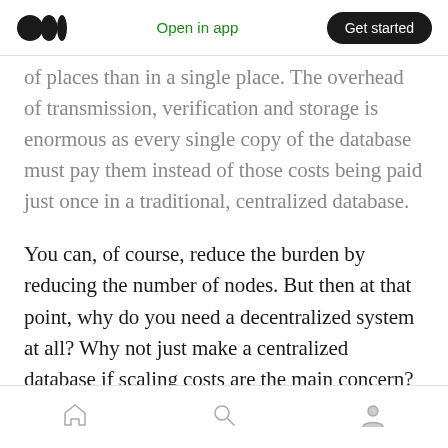Medium app header — Open in app | Get started
of places than in a single place. The overhead of transmission, verification and storage is enormous as every single copy of the database must pay them instead of those costs being paid just once in a traditional, centralized database.
You can, of course, reduce the burden by reducing the number of nodes. But then at that point, why do you need a decentralized system at all? Why not just make a centralized database if scaling costs are the main concern?
Centralization is a lot easier
Home | Search | Profile